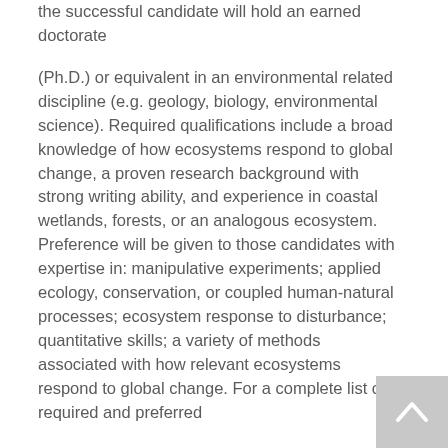the successful candidate will hold an earned doctorate
(Ph.D.) or equivalent in an environmental related discipline (e.g. geology, biology, environmental science). Required qualifications include a broad knowledge of how ecosystems respond to global change, a proven research background with strong writing ability, and experience in coastal wetlands, forests, or an analogous ecosystem. Preference will be given to those candidates with expertise in: manipulative experiments; applied ecology, conservation, or coupled human-natural processes; ecosystem response to disturbance; quantitative skills; a variety of methods associated with how relevant ecosystems respond to global change. For a complete list of required and preferred